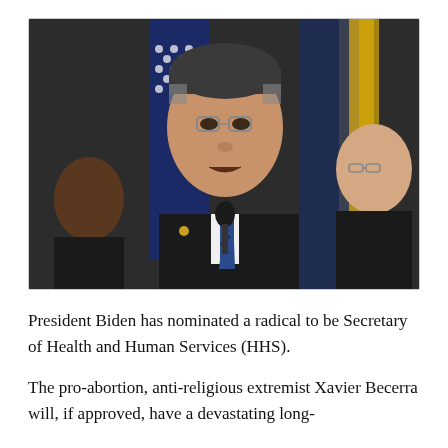[Figure (photo): A man in a dark suit with a blue patterned tie and congressional pin speaks at a podium with a microphone. American flags visible in background. Another man with glasses visible to the right.]
President Biden has nominated a radical to be Secretary of Health and Human Services (HHS).
The pro-abortion, anti-religious extremist Xavier Becerra will, if approved, have a devastating long-